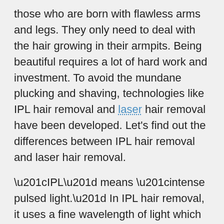those who are born with flawless arms and legs. They only need to deal with the hair growing in their armpits. Being beautiful requires a lot of hard work and investment. To avoid the mundane plucking and shaving, technologies like IPL hair removal and laser hair removal have been developed. Let's find out the differences between IPL hair removal and laser hair removal.
“IPL” means “intense pulsed light.” In IPL hair removal, it uses a fine wavelength of light which passes through a colored filter. It works by producing a sufficient amount of heat to make the hair roots and follicles vaporize. This type of hair removal is effective in reducing the amount and growth of unwanted hair. However, there are limits